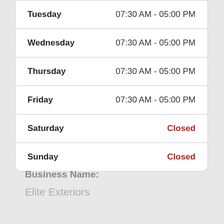| Day | Hours |
| --- | --- |
| Tuesday | 07:30 AM - 05:00 PM |
| Wednesday | 07:30 AM - 05:00 PM |
| Thursday | 07:30 AM - 05:00 PM |
| Friday | 07:30 AM - 05:00 PM |
| Saturday | Closed |
| Sunday | Closed |
Business Name:
Elite Exteriors